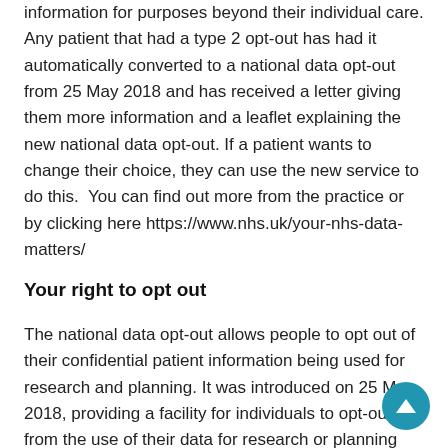information for purposes beyond their individual care. Any patient that had a type 2 opt-out has had it automatically converted to a national data opt-out from 25 May 2018 and has received a letter giving them more information and a leaflet explaining the new national data opt-out. If a patient wants to change their choice, they can use the new service to do this.  You can find out more from the practice or by clicking here https://www.nhs.uk/your-nhs-data-matters/
Your right to opt out
The national data opt-out allows people to opt out of their confidential patient information being used for research and planning. It was introduced on 25 May 2018, providing a facility for individuals to opt-out from the use of their data for research or planning purposes. The national data opt-out replaces the previous 'type 2' opt-out, which required